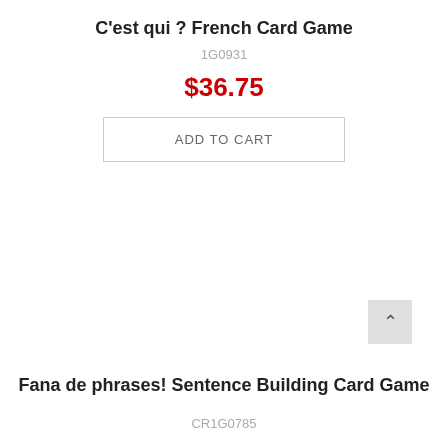C'est qui ? French Card Game
1G0931
$36.75
ADD TO CART
Fana de phrases! Sentence Building Card Game
CR1G0785